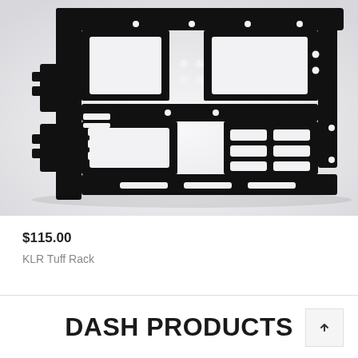[Figure (photo): Close-up photo of a black anodized aluminum KLR Tuff Rack mounting plate with various cutouts, slots, and holes on a light gray background.]
$115.00
KLR Tuff Rack
DASH PRODUCTS